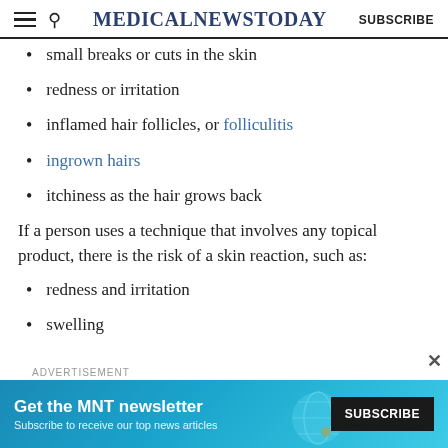MedicalNewsToday SUBSCRIBE
small breaks or cuts in the skin
redness or irritation
inflamed hair follicles, or folliculitis
ingrown hairs
itchiness as the hair grows back
If a person uses a technique that involves any topical product, there is the risk of a skin reaction, such as:
redness and irritation
swelling
[Figure (infographic): Advertisement banner: Get the MNT newsletter. Subscribe to receive our top news articles. SUBSCRIBE button.]